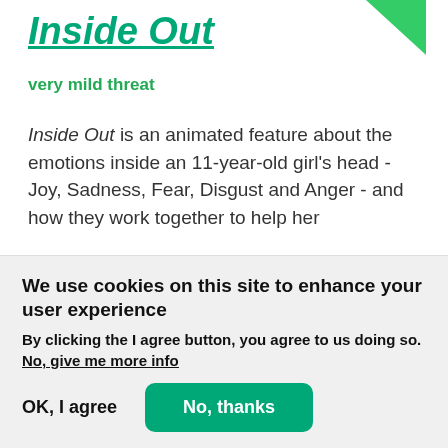Inside Out
very mild threat
Inside Out is an animated feature about the emotions inside an 11-year-old girl's head - Joy, Sadness, Fear, Disgust and Anger - and how they work together to help her
We use cookies on this site to enhance your user experience
By clicking the I agree button, you agree to us doing so.
No, give me more info
OK, I agree
No, thanks